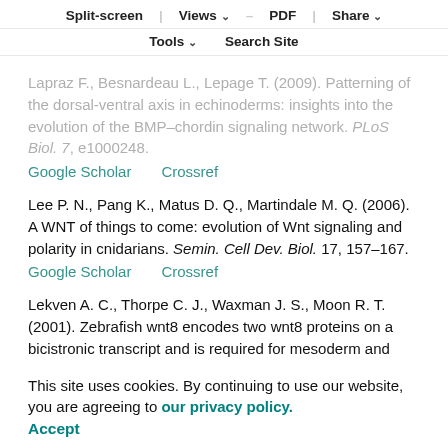Split-screen  Views  PDF  Share  Tools  Search Site
Lapraz F., Besnardeau L., Lepage T. (2009). Patterning of the dorsal-ventral axis in echinoderms: insights into the evolution of the BMP–chordin signaling network. PLoS Biol. 7, e1000248.
Google Scholar   Crossref
Lee P. N., Pang K., Matus D. Q., Martindale M. Q. (2006). A WNT of things to come: evolution of Wnt signaling and polarity in cnidarians. Semin. Cell Dev. Biol. 17, 157–167.
Google Scholar   Crossref
Lekven A. C., Thorpe C. J., Waxman J. S., Moon R. T. (2001). Zebrafish wnt8 encodes two wnt8 proteins on a bicistronic transcript and is required for mesoderm and neurectoderm patterning. Dev. Cell 1, 103–114.
Lemke S., Stauber M., Shaw P. J., Rafiqi A. M., Prell A., Schmidt-Ott U. (2008). Bicoid occurrence and Bicoid-
This site uses cookies. By continuing to use our website, you are agreeing to our privacy policy. Accept